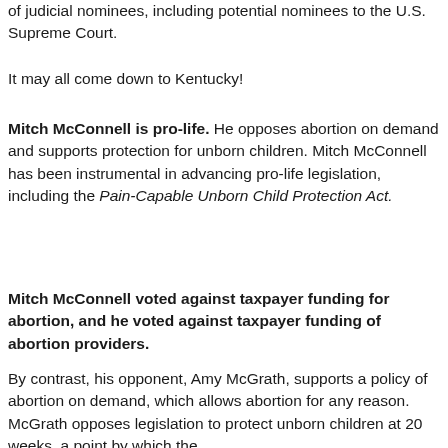of judicial nominees, including potential nominees to the U.S. Supreme Court.
It may all come down to Kentucky!
Mitch McConnell is pro-life. He opposes abortion on demand and supports protection for unborn children. Mitch McConnell has been instrumental in advancing pro-life legislation, including the Pain-Capable Unborn Child Protection Act.
Mitch McConnell voted against taxpayer funding for abortion, and he voted against taxpayer funding of abortion providers.
By contrast, his opponent, Amy McGrath, supports a policy of abortion on demand, which allows abortion for any reason. McGrath opposes legislation to protect unborn children at 20 weeks, a point by which the